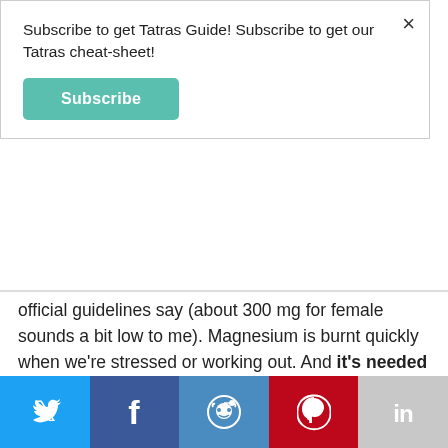Subscribe to get Tatras Guide! Subscribe to get our Tatras cheat-sheet!
Subscribe
official guidelines say (about 300 mg for female sounds a bit low to me). Magnesium is burnt quickly when we're stressed or working out. And it's needed basically for everything - our muscles need it to work properly, our cardiovascular system needs it and our nervous system will have breakdown without it. We won't be happy when our magnesium level is low . And it's turned out that my joints also can't work properly without magnesium.
[Figure (infographic): Social media sharing bar with Twitter, Facebook, Reddit, Pinterest, and LinkedIn icons]